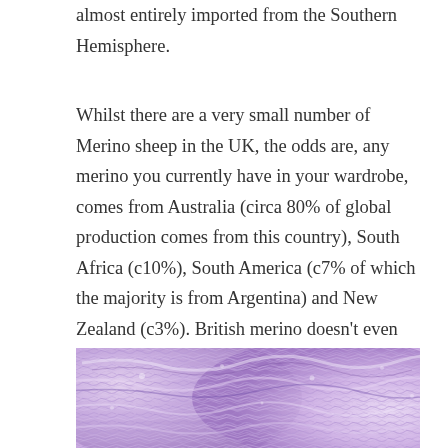almost entirely imported from the Southern Hemisphere.
Whilst there are a very small number of Merino sheep in the UK, the odds are, any merino you currently have in your wardrobe, comes from Australia (circa 80% of global production comes from this country), South Africa (c10%), South America (c7% of which the majority is from Argentina) and New Zealand (c3%). British merino doesn’t even feature in global merino production statistics. In short, British Merino is a very rare thing indeed.
[Figure (photo): Close-up photograph of lavender/purple merino wool yarn, showing twisted fibres and texture]